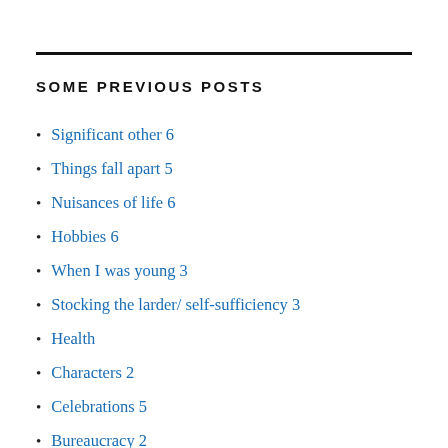SOME PREVIOUS POSTS
Significant other 6
Things fall apart 5
Nuisances of life 6
Hobbies 6
When I was young 3
Stocking the larder/ self-sufficiency 3
Health
Characters 2
Celebrations 5
Bureaucracy 2
Music/theatre/art 2